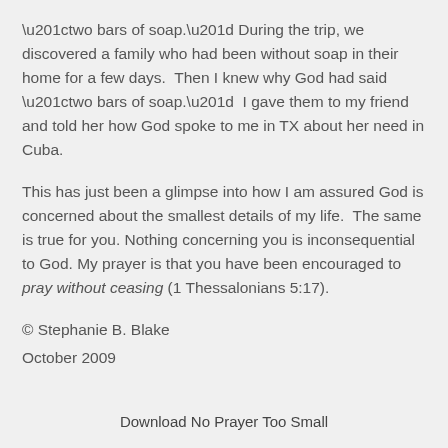“two bars of soap.” During the trip, we discovered a family who had been without soap in their home for a few days.  Then I knew why God had said “two bars of soap.”  I gave them to my friend and told her how God spoke to me in TX about her need in Cuba.
This has just been a glimpse into how I am assured God is concerned about the smallest details of my life.  The same is true for you. Nothing concerning you is inconsequential to God. My prayer is that you have been encouraged to pray without ceasing (1 Thessalonians 5:17).
© Stephanie B. Blake
October 2009
Download No Prayer Too Small